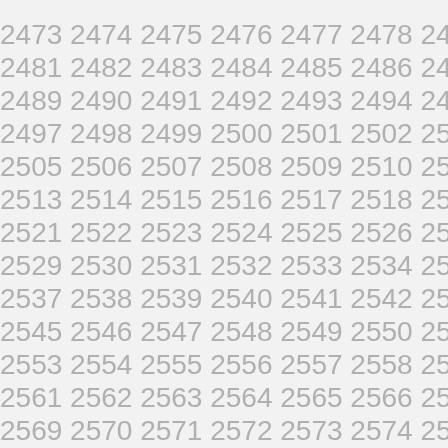2473 2474 2475 2476 2477 2478 2479 2480 2481 2482 2483 2484 2485 2486 2487 2488 2489 2490 2491 2492 2493 2494 2495 2496 2497 2498 2499 2500 2501 2502 2503 2504 2505 2506 2507 2508 2509 2510 2511 2512 2513 2514 2515 2516 2517 2518 2519 2520 2521 2522 2523 2524 2525 2526 2527 2528 2529 2530 2531 2532 2533 2534 2535 2536 2537 2538 2539 2540 2541 2542 2543 2544 2545 2546 2547 2548 2549 2550 2551 2552 2553 2554 2555 2556 2557 2558 2559 2560 2561 2562 2563 2564 2565 2566 2567 2568 2569 2570 2571 2572 2573 2574 2575 2576